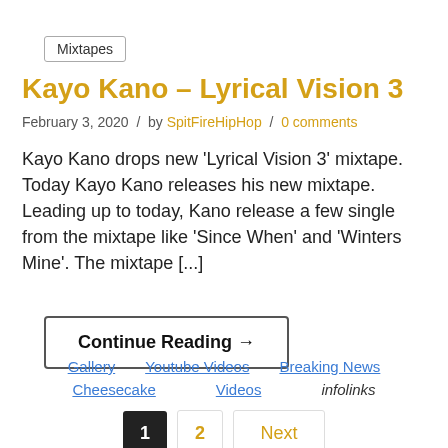Mixtapes
Kayo Kano – Lyrical Vision 3
February 3, 2020 / by SpitFireHipHop / 0 comments
Kayo Kano drops new 'Lyrical Vision 3' mixtape. Today Kayo Kano releases his new mixtape. Leading up to today, Kano release a few single from the mixtape like 'Since When' and 'Winters Mine'. The mixtape [...]
Continue Reading →
Gallery  Youtube Videos  Breaking News  Cheesecake  Videos  infolinks  1  2  Next
1  2  Next